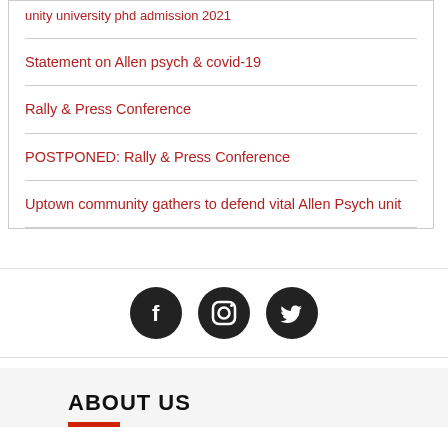unity university phd admission 2021
Statement on Allen psych & covid-19
Rally & Press Conference
POSTPONED: Rally & Press Conference
Uptown community gathers to defend vital Allen Psych unit
[Figure (infographic): Three social media icon circles (Facebook, Instagram, Twitter) centered horizontally on a white bar with top and bottom borders]
ABOUT US